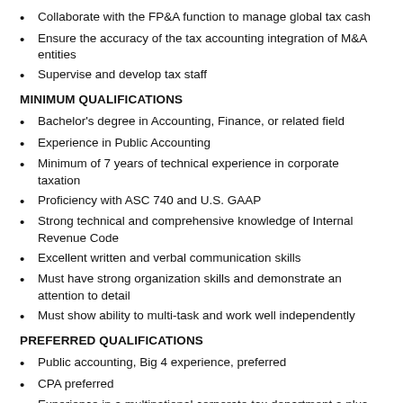Collaborate with the FP&A function to manage global tax cash
Ensure the accuracy of the tax accounting integration of M&A entities
Supervise and develop tax staff
MINIMUM QUALIFICATIONS
Bachelor's degree in Accounting, Finance, or related field
Experience in Public Accounting
Minimum of 7 years of technical experience in corporate taxation
Proficiency with ASC 740 and U.S. GAAP
Strong technical and comprehensive knowledge of Internal Revenue Code
Excellent written and verbal communication skills
Must have strong organization skills and demonstrate an attention to detail
Must show ability to multi-task and work well independently
PREFERRED QUALIFICATIONS
Public accounting, Big 4 experience, preferred
CPA preferred
Experience in a multinational corporate tax department a plus